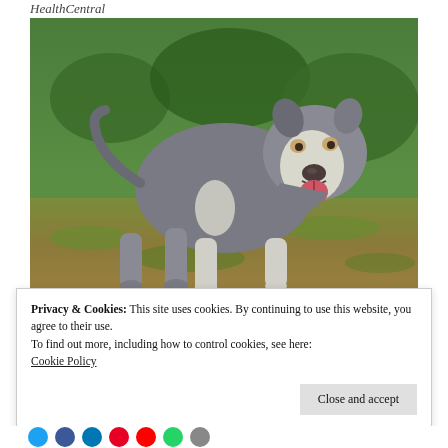HealthCentral
[Figure (photo): A gray and white pit bull dog standing on grass and dirt in an outdoor setting, mouth open with tongue visible, looking toward the camera.]
Privacy & Cookies: This site uses cookies. By continuing to use this website, you agree to their use.
To find out more, including how to control cookies, see here:
Cookie Policy
Close and accept